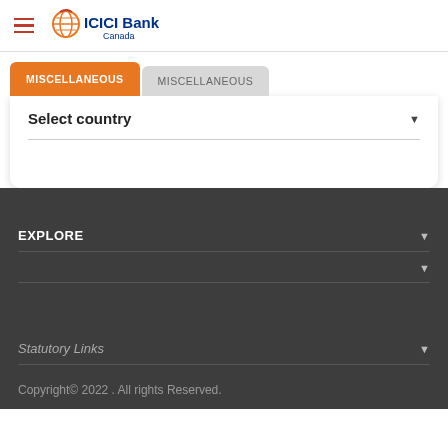ICICI Bank Canada
MISCELLANEOUS (active tab) | MISCELLANEOUS (inactive tab)
Select country
EXPLORE
Statutory Links
Copyright© 2022 . All rights Reserved.